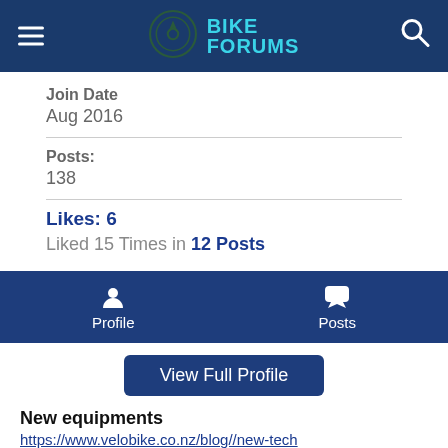BIKE FORUMS
Join Date
Aug 2016
Posts:
138
Likes: 6
Liked 15 Times in 12 Posts
Profile  Posts
View Full Profile
New equipments
https://www.velobike.co.nz/blog//new-tech
shoe covers??!! 🙁